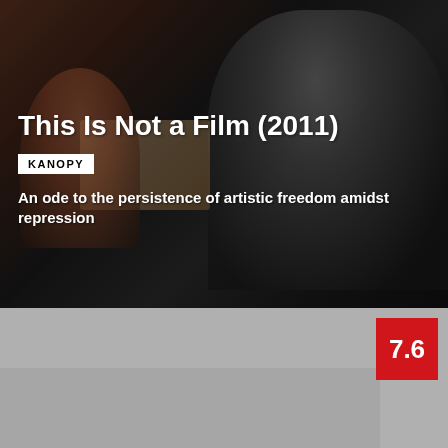[Figure (photo): Dark cinematic still from the film 'This Is Not a Film' (2011) showing two figures, one in foreground with reddish tones, another man in dark clothing with glasses in the background near what appears to be a screen showing '2:35']
This Is Not a Film (2011)
KANOPY
An ode to the persistence of artistic freedom amidst repression
[Figure (photo): Gray/silver colored bottom panel section with a red rating badge showing 7.6]
7.6